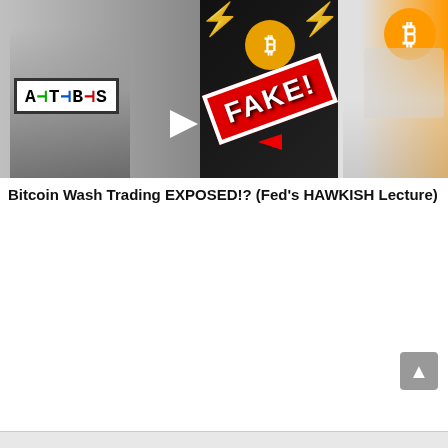[Figure (screenshot): YouTube video thumbnail showing ATBS logo on left, FAKE stamp in center with lightning bolts, Bitcoin logo on right, with exchange arrows]
Bitcoin Wash Trading EXPOSED!? (Fed's HAWKISH Lecture)
[Figure (infographic): Bitsgap trading bot advertisement banner. Dark blue background. Text: STOP HODLing / Try Bitsgap trading bot / Generates you profit on uptrend and saves you money on dropdowns / TRY NOW FOR FREE / 14 days trial / Bitsgap logo at bottom.]